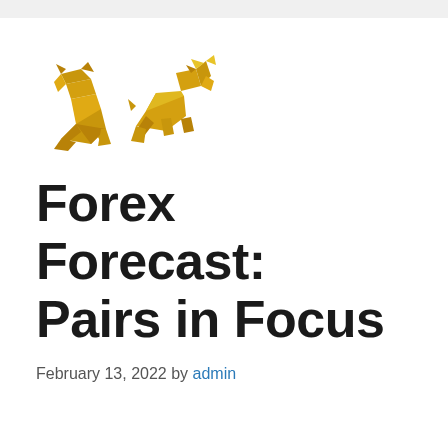[Figure (illustration): Two golden low-poly figurines of a bear and a bull facing each other, representing financial market symbols.]
Forex Forecast: Pairs in Focus
February 13, 2022 by admin